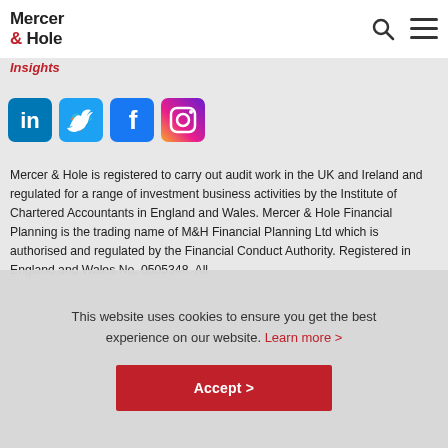Mercer & Hole
Insights
[Figure (logo): Social media icons: LinkedIn, Twitter, Facebook, Instagram]
Mercer & Hole is registered to carry out audit work in the UK and Ireland and regulated for a range of investment business activities by the Institute of Chartered Accountants in England and Wales. Mercer & Hole Financial Planning is the trading name of M&H Financial Planning Ltd which is authorised and regulated by the Financial Conduct Authority. Registered in England and Wales No. 0505348. All
This website uses cookies to ensure you get the best experience on our website. Learn more >
Accept >